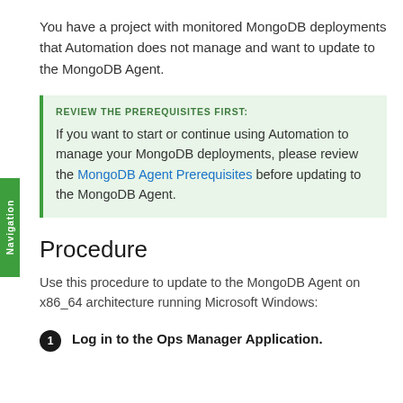You have a project with monitored MongoDB deployments that Automation does not manage and want to update to the MongoDB Agent.
REVIEW THE PREREQUISITES FIRST: If you want to start or continue using Automation to manage your MongoDB deployments, please review the MongoDB Agent Prerequisites before updating to the MongoDB Agent.
Procedure
Use this procedure to update to the MongoDB Agent on x86_64 architecture running Microsoft Windows:
1. Log in to the Ops Manager Application.